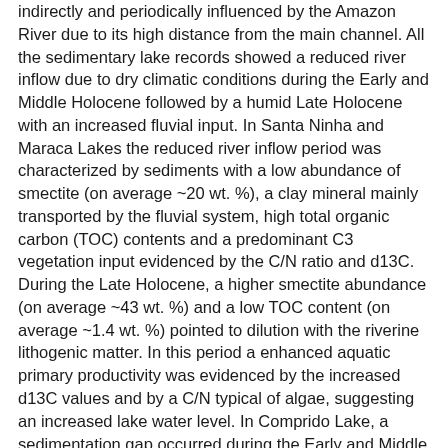indirectly and periodically influenced by the Amazon River due to its high distance from the main channel. All the sedimentary lake records showed a reduced river inflow due to dry climatic conditions during the Early and Middle Holocene followed by a humid Late Holocene with an increased fluvial input. In Santa Ninha and Maraca Lakes the reduced river inflow period was characterized by sediments with a low abundance of smectite (on average ~20 wt. %), a clay mineral mainly transported by the fluvial system, high total organic carbon (TOC) contents and a predominant C3 vegetation input evidenced by the C/N ratio and d13C. During the Late Holocene, a higher smectite abundance (on average ~43 wt. %) and a low TOC content (on average ~1.4 wt. %) pointed to dilution with the riverine lithogenic matter. In this period a enhanced aquatic primary productivity was evidenced by the increased d13C values and by a C/N typical of algae, suggesting an increased lake water level. In Comprido Lake, a sedimentation gap occurred during the Early and Middle Holocene. The humid Late Holocene, after 3,000 cal years BP, was characterized by high TOC values (on average ~9 wt. %) and increasing abundance of planktonic species, like Aulacoseira sp., which reflects the expansion of water bodies. The predominance of C3-vegetation and low smectite content suggest that in